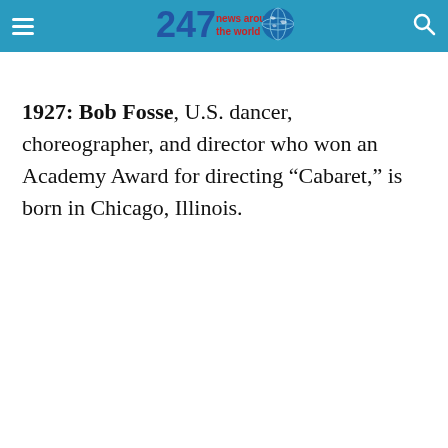247 news around the world
1927: Bob Fosse, U.S. dancer, choreographer, and director who won an Academy Award for directing “Cabaret,” is born in Chicago, Illinois.